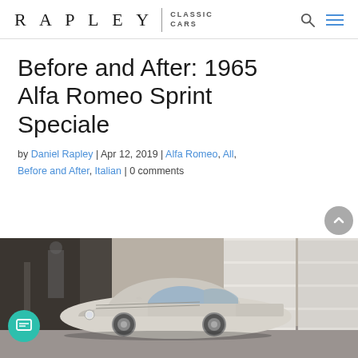RAPLEY | CLASSIC CARS
Before and After: 1965 Alfa Romeo Sprint Speciale
by Daniel Rapley | Apr 12, 2019 | Alfa Romeo, All, Before and After, Italian | 0 comments
[Figure (photo): A white 1965 Alfa Romeo Sprint Speciale parked in a garage, dusty and in need of restoration, viewed from a front three-quarter angle.]